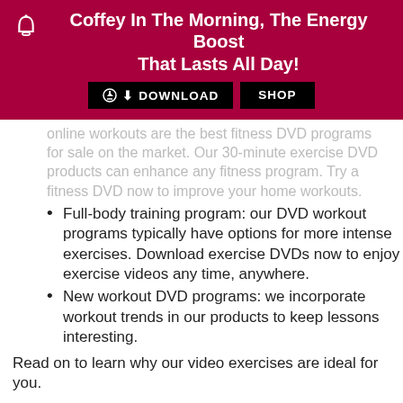Coffey In The Morning, The Energy Boost That Lasts All Day!
online workouts are the best fitness DVD programs for sale on the market. Our 30-minute exercise DVD products can enhance any fitness program. Try a fitness DVD now to improve your home workouts.
Full-body training program: our DVD workout programs typically have options for more intense exercises. Download exercise DVDs now to enjoy exercise videos any time, anywhere.
New workout DVD programs: we incorporate workout trends in our products to keep lessons interesting.
Read on to learn why our video exercises are ideal for you.
Short and effective workouts
Wide variety of fitness programs and workout options